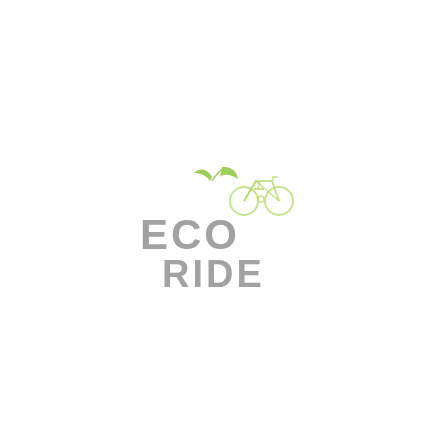[Figure (logo): EcoRide logo: green leaf and bicycle icon above bold gray text 'ECO RIDE' in two lines, with the bicycle graphic integrated into the 'O' of ECO]